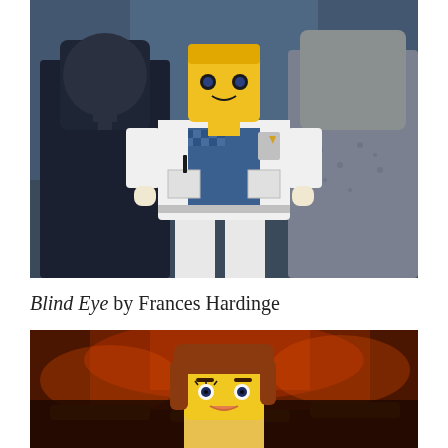[Figure (photo): Three LEGO minifigures: left is a dark-suited figure with a tie, center is a white-coated figure (doctor/detective) with a blue checkered shirt and badge, right is a gray rocky/stone figure. Background is blurry blue.]
Blind Eye by Frances Hardinge
[Figure (photo): A LEGO minifigure with reddish-brown hair and a yellow face with feminine features, set against a blurry warm red/orange background suggesting fire or flames.]